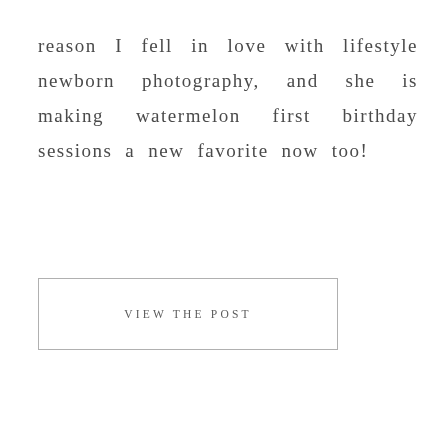reason I fell in love with lifestyle newborn photography, and she is making watermelon first birthday sessions a new favorite now too!
VIEW THE POST